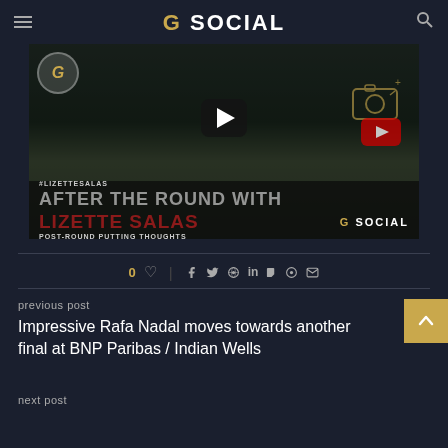G SOCIAL
[Figure (screenshot): Video thumbnail showing Lizette Salas 'After the Round' segment with G Social branding, play button overlay, golf imagery, hashtag #LIZETTESALAS, subtitle POST-ROUND PUTTING THOUGHTS]
0 | f y ⊕ in t © ✉
previous post
Impressive Rafa Nadal moves towards another final at BNP Paribas / Indian Wells
next post